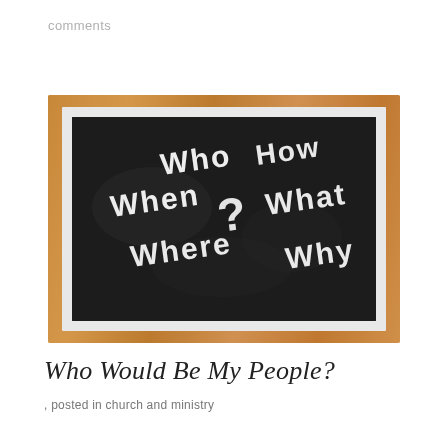comments
[Figure (photo): A chalkboard with white chalk text reading 'Who How When ? What Where Why' surrounded by a white frame, lying on a wooden surface.]
Who Would Be My People?
, posted in church and ministry